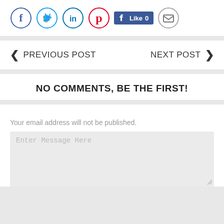[Figure (infographic): Social share buttons: Facebook (blue circle with f), Twitter (light blue circle with bird), LinkedIn (teal circle with in), Pinterest (red circle with p), Facebook Like button (blue), Email/mail (gray circle with envelope icon)]
< PREVIOUS POST    NEXT POST >
NO COMMENTS, BE THE FIRST!
Your email address will not be published.
Enter Message Here